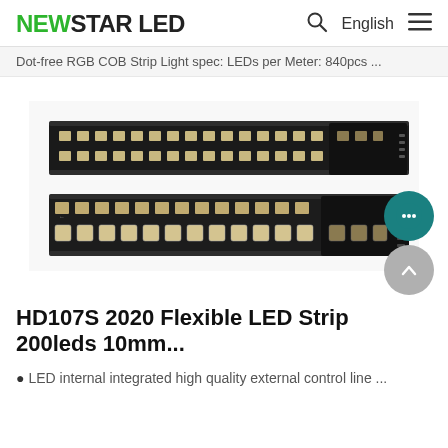NEWSTAR LED  English
Dot-free RGB COB Strip Light spec: LEDs per Meter: 840pcs ...
[Figure (photo): Two black LED strip light PCBs with densely packed SMD LEDs, shown side by side horizontally. The strips are flexible and dark, with visible LED chips arranged in a row.]
HD107S 2020 Flexible LED Strip 200leds 10mm...
LED internal integrated high quality external control line ...